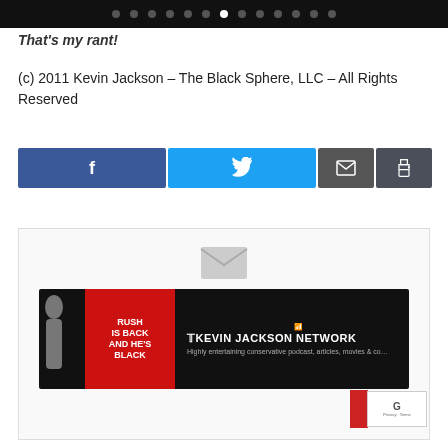Navigation dot bar
That's my rant!
(c) 2011 Kevin Jackson – The Black Sphere, LLC – All Rights Reserved
[Figure (infographic): Social share buttons: Facebook (blue with f icon), Twitter (blue with bird icon), Email (gray with envelope icon), Print (gray with printer icon)]
[Figure (infographic): Subscribe box with envelope icon and Kevin Jackson Network banner advertisement showing Rush Is Back And He's Black red box logo and The Kevin Jackson Network text with wifi symbol]